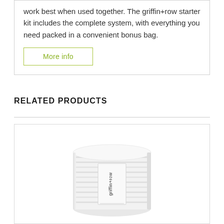work best when used together. The griffin+row starter kit includes the complete system, with everything you need packed in a convenient bonus bag.
More info
RELATED PRODUCTS
[Figure (photo): A white rolled bandage or wrapping with a griffin+row label on it, displayed against a white background inside a product card with a light border.]